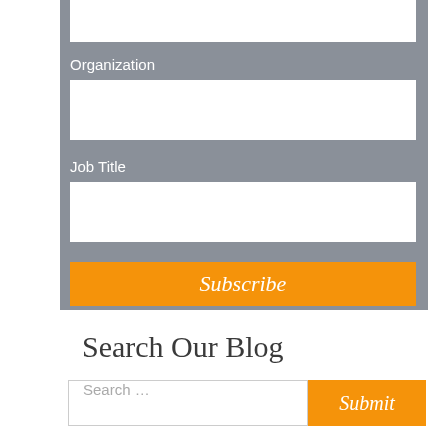Organization
Job Title
Subscribe
Search Our Blog
Search ...
Submit